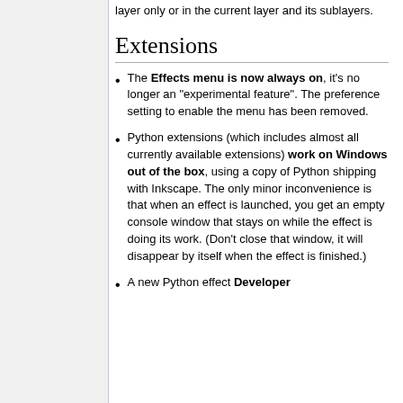layer only or in the current layer and its sublayers.
Extensions
The Effects menu is now always on, it's no longer an "experimental feature". The preference setting to enable the menu has been removed.
Python extensions (which includes almost all currently available extensions) work on Windows out of the box, using a copy of Python shipping with Inkscape. The only minor inconvenience is that when an effect is launched, you get an empty console window that stays on while the effect is doing its work. (Don't close that window, it will disappear by itself when the effect is finished.)
A new Python effect Developer...